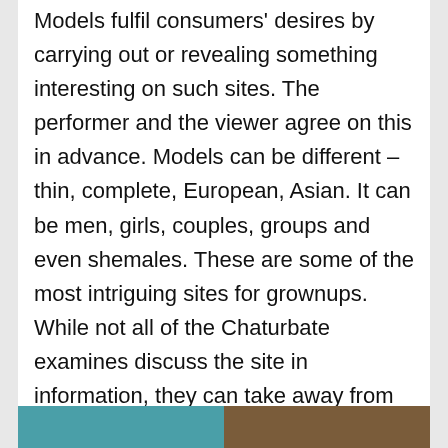Models fulfil consumers' desires by carrying out or revealing something interesting on such sites. The performer and the viewer agree on this in advance. Models can be different – thin, complete, European, Asian. It can be men, girls, couples, groups and even shemales. These are some of the most intriguing sites for grownups. While not all of the Chaturbate examines discuss the site in information, they can take away from the experience of the program. This site is very particular.
[Figure (photo): Bottom strip showing two partial images: teal/turquoise color on left half, brown/skin tone on right half]